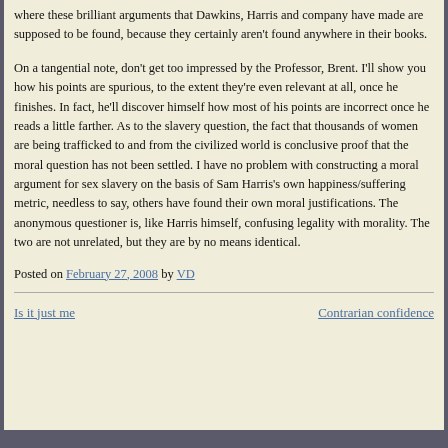where these brilliant arguments that Dawkins, Harris and company have made are supposed to be found, because they certainly aren't found anywhere in their books.
On a tangential note, don't get too impressed by the Professor, Brent. I'll show you how his points are spurious, to the extent they're even relevant at all, once he finishes. In fact, he'll discover himself how most of his points are incorrect once he reads a little farther. As to the slavery question, the fact that thousands of women are being trafficked to and from the civilized world is conclusive proof that the moral question has not been settled. I have no problem with constructing a moral argument for sex slavery on the basis of Sam Harris's own happiness/suffering metric, needless to say, others have found their own moral justifications. The anonymous questioner is, like Harris himself, confusing legality with morality. The two are not unrelated, but they are by no means identical.
Posted on February 27, 2008 by VD
Is it just me | Contrarian confidence